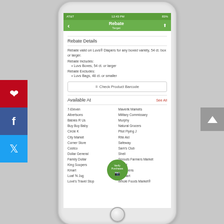[Figure (screenshot): Social sharing sidebar with Pinterest (red), Facebook (blue), Twitter (light blue) buttons on the left side of the page]
[Figure (screenshot): Mobile phone screenshot showing a rebate app. Green navigation bar labeled 'Rebate / Target'. Screen shows Rebate Details section with text about Luvs Diapers rebate, includes/excludes lists, Check Product Barcode button, and Available At store list including 7-Eleven, Albertsons, Babies R Us, Buy Buy Baby, Circle K, City Market, Corner Store, Costco, Dollar General, Family Dollar, King Soopers, Kmart, Loaf 'N Jug, Love's Travel Stop on the left column and Maverik Markets, Military Commissary, Murphy, Natural Grocers, Pilot Flying J, Rite Aid, Safeway, Sam's Club, Shell, Sprouts Farmers Market, Target, Walgreens, Walmart, Whole Foods Market® on the right column. A green circular Verify Purchases button overlays the store list.]